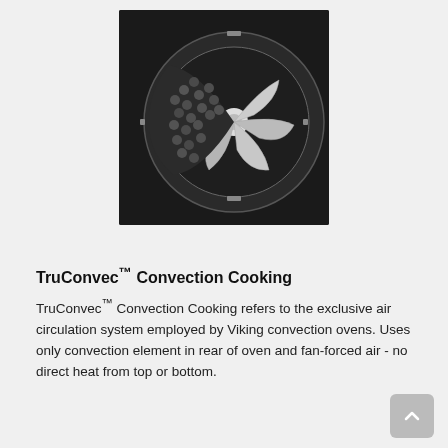[Figure (photo): Top-down view of a Viking convection oven interior showing a fan/impeller at center-right and what appears to be food items on the left side, shot in black and white against a dark background.]
TruConvec™ Convection Cooking
TruConvec™ Convection Cooking refers to the exclusive air circulation system employed by Viking convection ovens. Uses only convection element in rear of oven and fan-forced air - no direct heat from top or bottom.